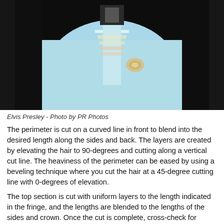[Figure (photo): Elvis Presley performing on stage, wearing a white embellished jumpsuit, holding a microphone, with rings visible on his hand. Photo is cropped showing mainly his torso and hand.]
Elvis Presley - Photo by PR Photos
The perimeter is cut on a curved line in front to blend into the desired length along the sides and back. The layers are created by elevating the hair to 90-degrees and cutting along a vertical cut line. The heaviness of the perimeter can be eased by using a beveling technique where you cut the hair at a 45-degree cutting line with 0-degrees of elevation.
The top section is cut with uniform layers to the length indicated in the fringe, and the lengths are blended to the lengths of the sides and crown. Once the cut is complete, cross-check for evenness and then style the hair.
For the signature Elvis look, the details of the style are key. The hair is blow-dried using a round brush and a strong gel